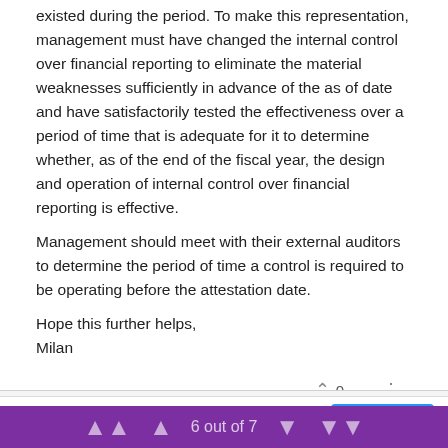existed during the period. To make this representation, management must have changed the internal control over financial reporting to eliminate the material weaknesses sufficiently in advance of the as of date and have satisfactorily tested the effectiveness over a period of time that is adequate for it to determine whether, as of the end of the fiscal year, the design and operation of internal control over financial reporting is effective.
Management should meet with their external auditors to determine the period of time a control is required to be operating before the attestation date.
Hope this further helps,
Milan
lafeber Apr 28, 2019 6:12 PM
This website uses cookies to ensure you get the best
GOT IT!
6 out of 7